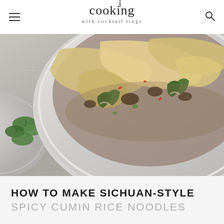cooking with cocktail rings
[Figure (photo): Close-up photo of a white ceramic bowl filled with wide flat rice noodles, ground meat, bok choy, and a spicy broth, styled on a marble surface with a small bowl of cilantro in the foreground left.]
HOW TO MAKE SICHUAN-STYLE SPICY CUMIN RICE NOODLES